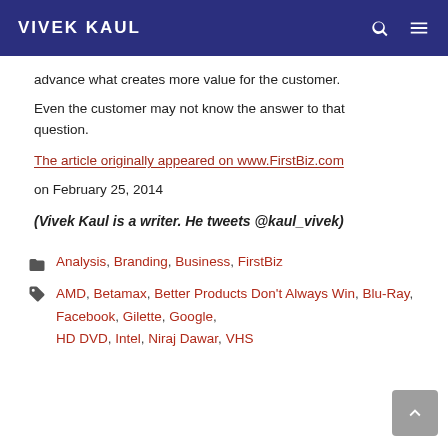VIVEK KAUL
advance what creates more value for the customer. Even the customer may not know the answer to that question.
The article originally appeared on www.FirstBiz.com on February 25, 2014
(Vivek Kaul is a writer. He tweets @kaul_vivek)
Analysis, Branding, Business, FirstBiz
AMD, Betamax, Better Products Don't Always Win, Blu-Ray, Facebook, Gilette, Google, HD DVD, Intel, Niraj Dawar, VHS